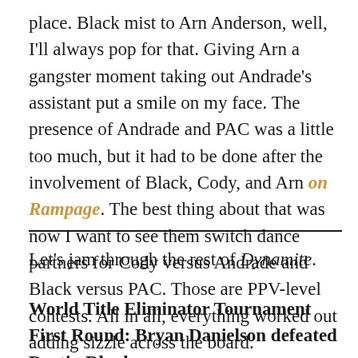place. Black mist to Arn Anderson, well, I'll always pop for that. Giving Arn a gangster moment taking out Andrade's assistant put a smile on my face. The presence of Andrade and PAC was a little too much, but it had to be done after the involvement of Black, Cody, and Arn on Rampage. The best thing about that was now I want to see them switch dance partners for Cody versus Andrade and Black versus PAC. Those are PPV-level contests. All in all, everything worked out adding sizzle across the board.
Let's jam through the rest of Dynamite.
World Title Eliminator Tournament First Round: Bryan Danielson defeated Dustin Rhodes.